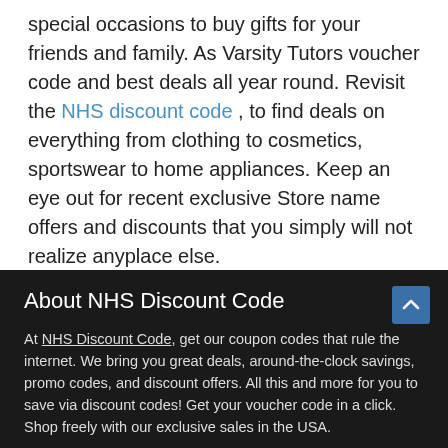special occasions to buy gifts for your friends and family. As Varsity Tutors voucher code and best deals all year round. Revisit the NHS discount code , to find deals on everything from clothing to cosmetics, sportswear to home appliances. Keep an eye out for recent exclusive Store name offers and discounts that you simply will not realize anyplace else.
About NHS Discount Code
At NHS Discount Code, get our coupon codes that rule the internet. We bring you great deals, around-the-clock savings, promo codes, and discount offers. All this and more for you to save via discount codes! Get your voucher code in a click. Shop freely with our exclusive sales in the USA.